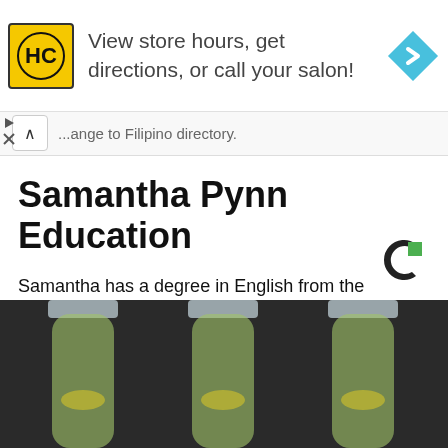[Figure (infographic): Ad banner with HC (Hair Club) logo in yellow square, text 'View store hours, get directions, or call your salon!' and a blue diamond navigation icon on the right.]
...ange to Filipino directory.
Samantha Pynn Education
Samantha has a degree in English from the University of Toronto. She later joined Ryerson University for magazine journalism.
[Figure (logo): Coin/Outbrain logo - dark circular C shape with green square accent]
[Figure (photo): Photo of three plastic bottles with yellow-green liquid and lemon/lime slices inside]